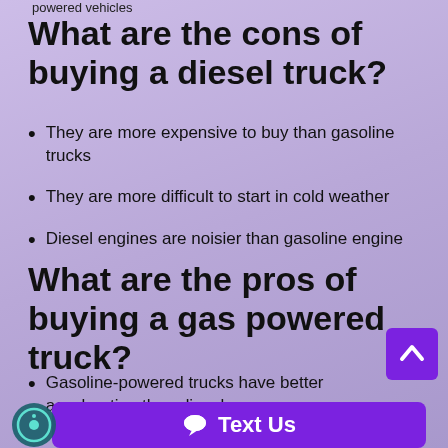powered vehicles
What are the cons of buying a diesel truck?
They are more expensive to buy than gasoline trucks
They are more difficult to start in cold weather
Diesel engines are noisier than gasoline engine
What are the pros of buying a gas powered truck?
Gasoline-powered trucks have better acceleration than diesel..